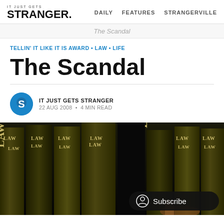IT JUST GETS STRANGER. | DAILY  FEATURES  STRANGERVILLE
The Scandal
TELLIN' IT LIKE IT IS AWARD • LAW • LIFE
The Scandal
IT JUST GETS STRANGER
22 AUG 2008 • 4 MIN READ
[Figure (photo): Dark background image of multiple law books with gold lettering 'LAW' on their spines, with a partial view of a gavel or copper object at the bottom right. A subscribe button is overlaid in the bottom right.]